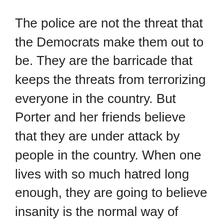The police are not the threat that the Democrats make them out to be. They are the barricade that keeps the threats from terrorizing everyone in the country. But Porter and her friends believe that they are under attack by people in the country. When one lives with so much hatred long enough, they are going to believe insanity is the normal way of thinking.
Porter does not have the qualifications to work in the position she was granted by a man that is losing his mind. Her top skills on